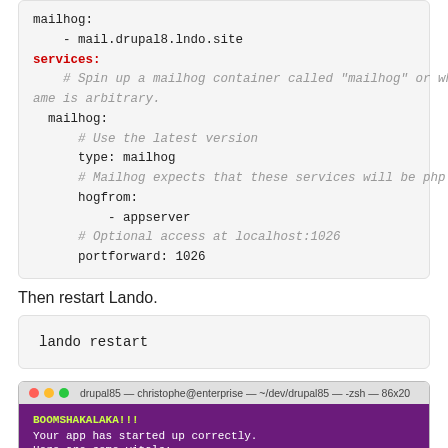[Figure (screenshot): Code block showing YAML configuration for mailhog service with services key, mailhog type, hogfrom appserver, portforward 1026]
Then restart Lando.
[Figure (screenshot): Terminal code block showing: lando restart]
[Figure (screenshot): Terminal window showing drupal85 — christophe@enterprise — ~/dev/drupal85 — -zsh — 86x20 with BOOMSHAKALAKA!!! message and app startup confirmation with NAME: drupal-85-dev]